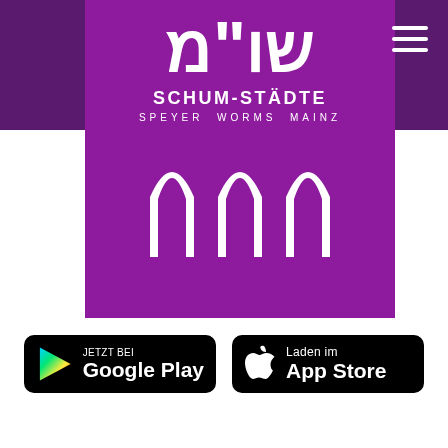[Figure (logo): Schum-Städte logo: purple square with Hebrew characters שו"מ, text SCHUM-STÄDTE SPEYER WORMS MAINZ, and decorative arch motif below]
[Figure (logo): Google Play store badge: black rounded rectangle with Google Play triangle icon and text JETZT BEI Google Play]
[Figure (logo): Apple App Store badge: black rounded rectangle with Apple logo icon and text Laden im App Store]